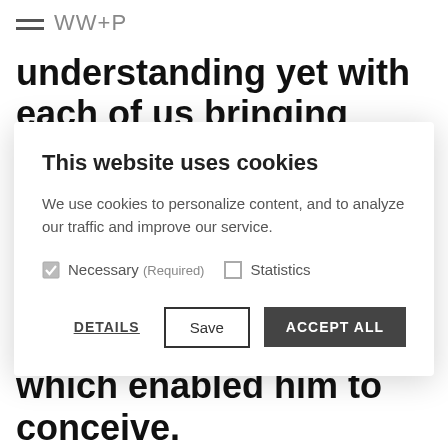WW+P
understanding yet with each of us bringing complimentary individual skills and
This website uses cookies
We use cookies to personalize content, and to analyze our traffic and improve our service.
Necessary (Required) [checked]   Statistics [unchecked]
DETAILS   Save   ACCEPT ALL
which enabled him to conceive.